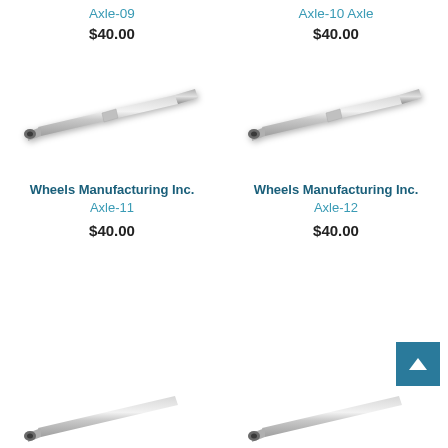Axle-09
$40.00
Axle-10 Axle
$40.00
[Figure (photo): Metal axle pin/rod, silver cylindrical shape with hollow end, diagonal orientation, left side]
[Figure (photo): Metal axle pin/rod, silver cylindrical shape with hollow end, diagonal orientation, right side]
Wheels Manufacturing Inc. Axle-11
$40.00
Wheels Manufacturing Inc. Axle-12
$40.00
[Figure (photo): Partial view of metal axle at bottom left]
[Figure (photo): Partial view of metal axle at bottom right]